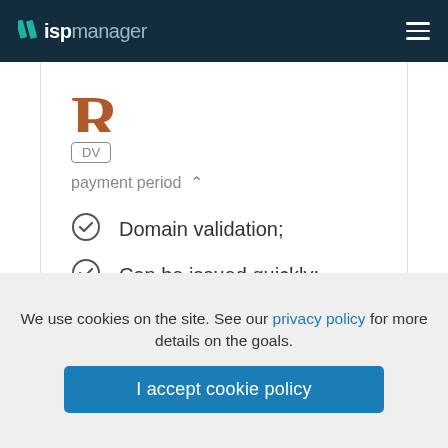ispmanager
[Figure (logo): ispmanager logo with two diagonal slash marks in teal/green, text 'isp' in bold white and 'manager' in light gray]
DV
payment period ^
Domain validation;
Can be issued quickly;
Suitable for private use
We use cookies on the site. See our privacy policy for more details on the goals.
I accept cookie policy